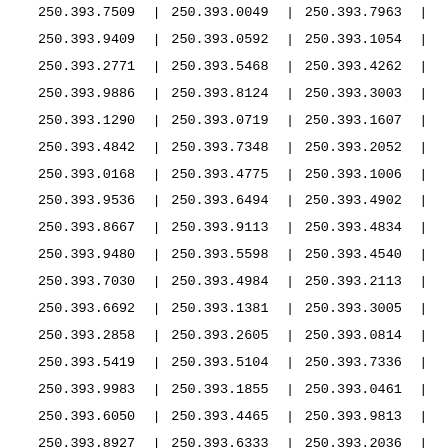| 250.393.7509 | | | 250.393.0049 | | | 250.393.7963 | | |
| 250.393.9409 | | | 250.393.0592 | | | 250.393.1054 | | |
| 250.393.2771 | | | 250.393.5468 | | | 250.393.4262 | | |
| 250.393.9886 | | | 250.393.8124 | | | 250.393.3003 | | |
| 250.393.1290 | | | 250.393.0719 | | | 250.393.1607 | | |
| 250.393.4842 | | | 250.393.7348 | | | 250.393.2052 | | |
| 250.393.0168 | | | 250.393.4775 | | | 250.393.1006 | | |
| 250.393.9536 | | | 250.393.6494 | | | 250.393.4902 | | |
| 250.393.8667 | | | 250.393.9113 | | | 250.393.4834 | | |
| 250.393.9480 | | | 250.393.5598 | | | 250.393.4540 | | |
| 250.393.7030 | | | 250.393.4984 | | | 250.393.2113 | | |
| 250.393.6692 | | | 250.393.1381 | | | 250.393.3005 | | |
| 250.393.2858 | | | 250.393.2605 | | | 250.393.0814 | | |
| 250.393.5419 | | | 250.393.5104 | | | 250.393.7336 | | |
| 250.393.9983 | | | 250.393.1855 | | | 250.393.0461 | | |
| 250.393.6050 | | | 250.393.4465 | | | 250.393.9813 | | |
| 250.393.8927 | | | 250.393.6333 | | | 250.393.2036 | | |
| 250.393.3450 | | | 250.393.3672 | | | 250.393.3440 | | |
| 250.393.6553 | | | 250.393.9256 | | | 250.393.2436 | | |